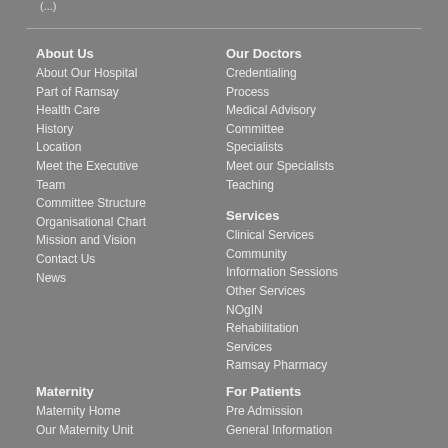(...)
About Us
About Our Hospital
Part of Ramsay
Health Care
History
Location
Meet the Executive
Team
Committee Structure
Organisational Chart
Mission and Vision
Contact Us
News
Our Doctors
Credentialing
Process
Medical Advisory
Committee
Specialists
Meet our Specialists
Teaching
Services
Clinical Services
Community
Information Sessions
Other Services
NOgIN
Rehabilitation
Services
Ramsay Pharmacy
Maternity
Maternity Home
Our Maternity Unit
For Patients
Pre Admission
General Information